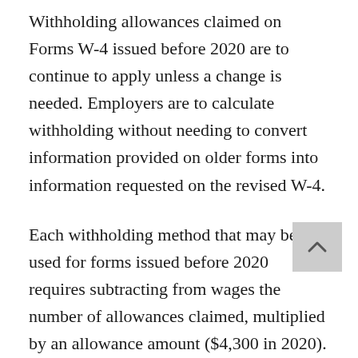Withholding allowances claimed on Forms W-4 issued before 2020 are to continue to apply unless a change is needed. Employers are to calculate withholding without needing to convert information provided on older forms into information requested on the revised W-4.
Each withholding method that may be used for forms issued before 2020 requires subtracting from wages the number of allowances claimed, multiplied by an allowance amount ($4,300 in 2020).
The wage-bracket method tables and manual percentage-method tables for older forms are to have the same structure as those in effect for 2019, with no...